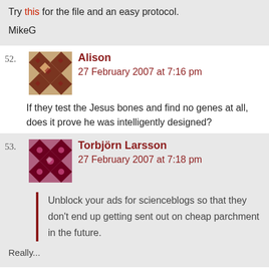Try this for the file and an easy protocol.
MikeG
52. Alison
27 February 2007 at 7:16 pm
If they test the Jesus bones and find no genes at all, does it prove he was intelligently designed?
53. Torbjörn Larsson
27 February 2007 at 7:18 pm
Unblock your ads for scienceblogs so that they don't end up getting sent out on cheap parchment in the future.
Really...